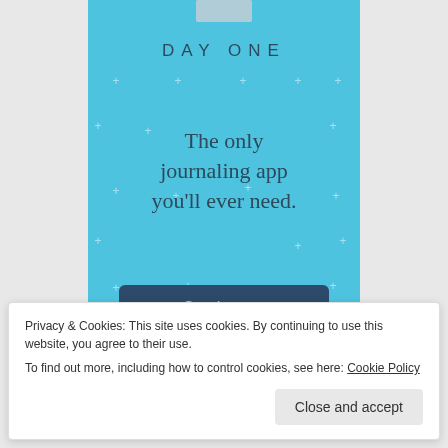[Figure (screenshot): Day One journaling app promotional banner with blue background, star/cross pattern, DAY ONE logo, tagline 'The only journaling app you'll ever need.' and a 'Get the app' button]
Privacy & Cookies: This site uses cookies. By continuing to use this website, you agree to their use.
To find out more, including how to control cookies, see here: Cookie Policy
Close and accept